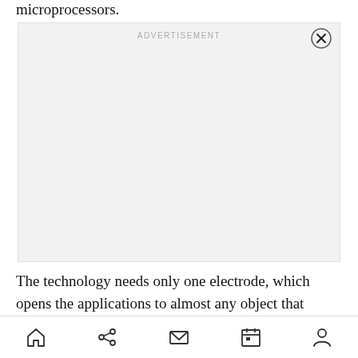microprocessors.
[Figure (other): Advertisement placeholder box with 'ADVERTISEMENT' label and close (X) button in top right corner]
The technology needs only one electrode, which opens the applications to almost any object that